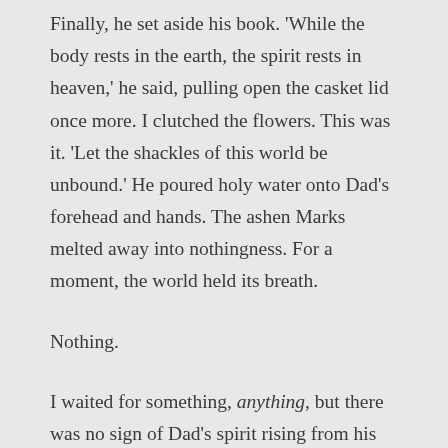Finally, he set aside his book. 'While the body rests in the earth, the spirit rests in heaven,' he said, pulling open the casket lid once more. I clutched the flowers. This was it. 'Let the shackles of this world be unbound.' He poured holy water onto Dad's forehead and hands. The ashen Marks melted away into nothingness. For a moment, the world held its breath.
Nothing.
I waited for something, anything, but there was no sign of Dad's spirit rising from his body, no prickle of magic or Marks, no light. Nothing but a choked silence, and the